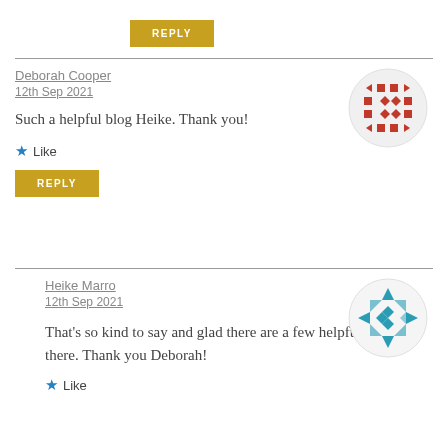REPLY
Deborah Cooper
12th Sep 2021
Such a helpful blog Heike. Thank you!
[Figure (illustration): Circular avatar icon with red/terracotta geometric pattern of squares and diamonds on white background]
★ Like
REPLY
Heike Marro
12th Sep 2021
That's so kind to say and glad there are a few helpful tips in there. Thank you Deborah!
[Figure (illustration): Circular avatar icon with teal/blue geometric snowflake-like pattern on white/light grey background]
★ Like